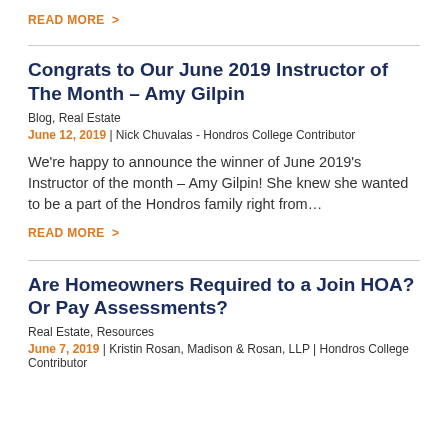READ MORE  >
Congrats to Our June 2019 Instructor of The Month – Amy Gilpin
Blog, Real Estate
June 12, 2019 | Nick Chuvalas - Hondros College Contributor
We're happy to announce the winner of June 2019's Instructor of the month – Amy Gilpin! She knew she wanted to be a part of the Hondros family right from...
READ MORE  >
Are Homeowners Required to a Join HOA? Or Pay Assessments?
Real Estate, Resources
June 7, 2019 | Kristin Rosan, Madison & Rosan, LLP | Hondros College Contributor